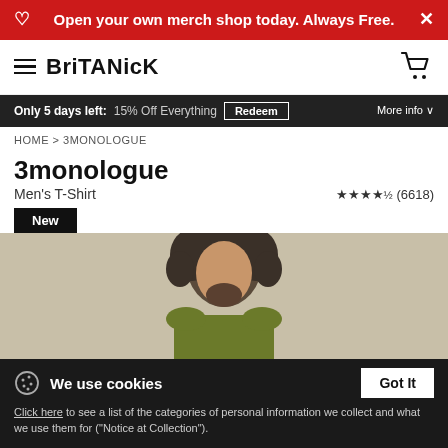Open your own merch shop today. Always Free.
BriTANicK
Only 5 days left: 15% Off Everything  Redeem  More info
HOME > 3MONOLOGUE
3monologue
Men's T-Shirt  ★★★★½ (6618)
New
[Figure (photo): Man with large curly hair wearing a yellow/olive t-shirt, shown from shoulders up, product photo for 3monologue Men's T-Shirt]
We use cookies
Click here to see a list of the categories of personal information we collect and what we use them for ("Notice at Collection").
Privacy Policy
Do Not Sell My Personal Information
By using this website, I agree to the Terms and Conditions